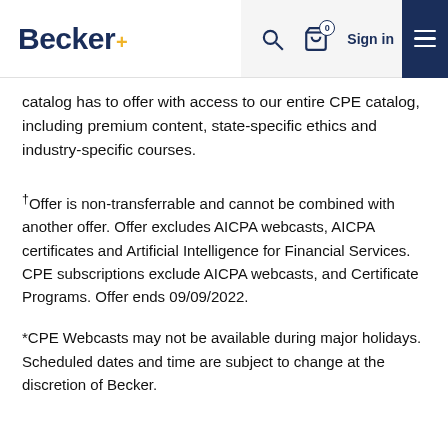Becker+ [logo] | Search | Cart (0) | Sign in | Menu
catalog has to offer with access to our entire CPE catalog, including premium content, state-specific ethics and industry-specific courses.
†Offer is non-transferrable and cannot be combined with another offer. Offer excludes AICPA webcasts, AICPA certificates and Artificial Intelligence for Financial Services. CPE subscriptions exclude AICPA webcasts, and Certificate Programs. Offer ends 09/09/2022.
*CPE Webcasts may not be available during major holidays. Scheduled dates and time are subject to change at the discretion of Becker.